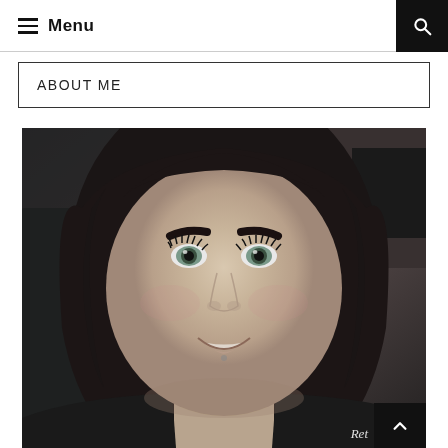Menu
ABOUT ME
[Figure (photo): Selfie of a young woman with dark hair, green eyes, and a necklace, smiling at the camera. The photo has a slightly desaturated/vintage filter applied.]